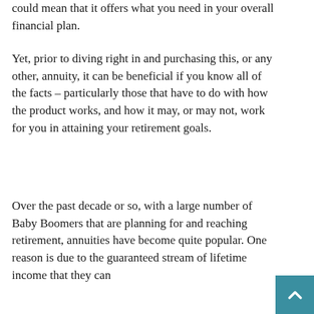could mean that it offers what you need in your overall financial plan.
Yet, prior to diving right in and purchasing this, or any other, annuity, it can be beneficial if you know all of the facts – particularly those that have to do with how the product works, and how it may, or may not, work for you in attaining your retirement goals.
Over the past decade or so, with a large number of Baby Boomers that are planning for and reaching retirement, annuities have become quite popular. One reason is due to the guaranteed stream of lifetime income that they can